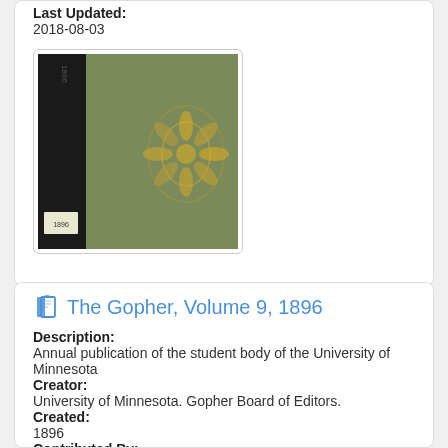Last Updated: 2018-08-03
[Figure (photo): Thumbnail image of a book cover with dark spine and olive green cover with decorative gold design]
The Gopher, Volume 9, 1896
Description:
Annual publication of the student body of the University of Minnesota
Creator:
University of Minnesota. Gopher Board of Editors.
Created:
1896
Contributed By: